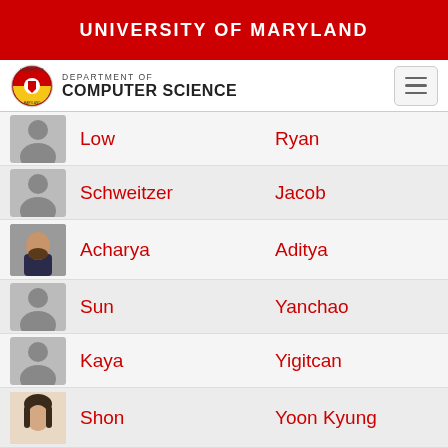UNIVERSITY OF MARYLAND
[Figure (logo): University of Maryland Department of Computer Science logo with seal and hamburger menu button]
Low  Ryan
Schweitzer  Jacob
Acharya  Aditya
Sun  Yanchao
Kaya  Yigitcan
Shon  Yoon Kyung